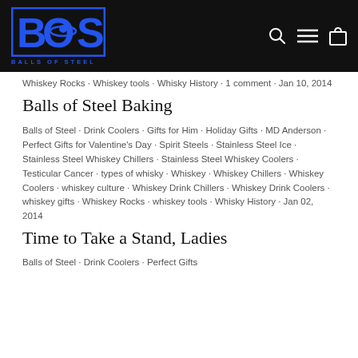[Figure (logo): Balls of Steel logo — blue BOS letters in black header bar with nav icons (search, menu, cart)]
Whiskey Rocks · Whiskey tools · Whisky History · 1 comment · Jan 10, 2014
Balls of Steel Baking
Balls of Steel · Drink Coolers · Gifts for Him · Holiday Gifts · MD Anderson · Perfect Gifts for Valentine's Day · Spirit Steels · Stainless Steel Ice · Stainless Steel Whiskey Chillers · Stainless Steel Whiskey Coolers · Testicular Cancer · types of whisky · Whiskey · Whiskey Chillers · Whiskey Coolers · whiskey culture · Whiskey Drink Chillers · Whiskey Drink Coolers · whiskey gifts · Whiskey Rocks · whiskey tools · Whisky History · Jan 02, 2014
Time to Take a Stand, Ladies
Balls of Steel · Drink Coolers · Perfect Gifts